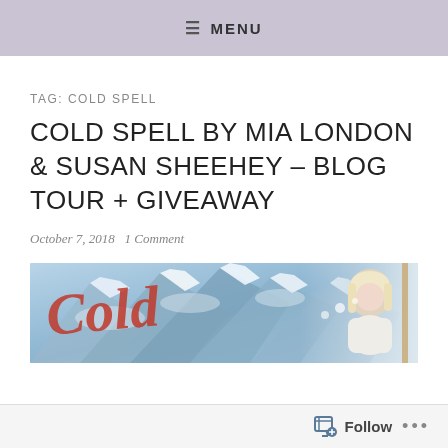≡ MENU
TAG: COLD SPELL
COLD SPELL BY MIA LONDON & SUSAN SHEEHEY – BLOG TOUR + GIVEAWAY
October 7, 2018   1 Comment
[Figure (photo): Book banner for Cold Spell showing snowy mountain backdrop with red cursive 'Cold' script text on the left and a blonde woman in winter clothing on the right]
Follow ...